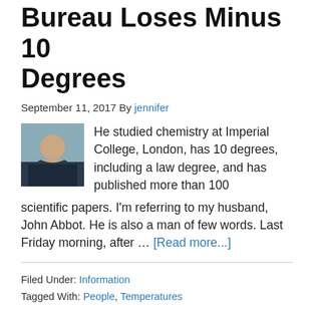Bureau Loses Minus 10 Degrees
September 11, 2017 By jennifer
[Figure (photo): Portrait photo of a man, likely John Abbot, shown from shoulders up outdoors]
He studied chemistry at Imperial College, London, has 10 degrees, including a law degree, and has published more than 100 scientific papers. I'm referring to my husband, John Abbot. He is also a man of few words. Last Friday morning, after … [Read more...]
Filed Under: Information
Tagged With: People, Temperatures
Vindicated: Bureau at